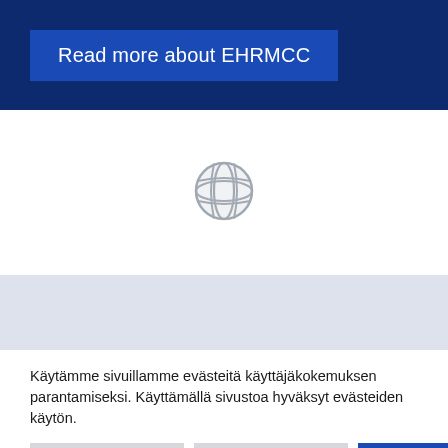Read more about EHRMCC
[Figure (illustration): Gray globe/world icon with grid lines]
Käytämme sivuillamme evästeitä käyttäjäkokemuksen parantamiseksi. Käyttämällä sivustoa hyväksyt evästeiden käytön.
Asetukset
Lisätietoja
Hyväksy